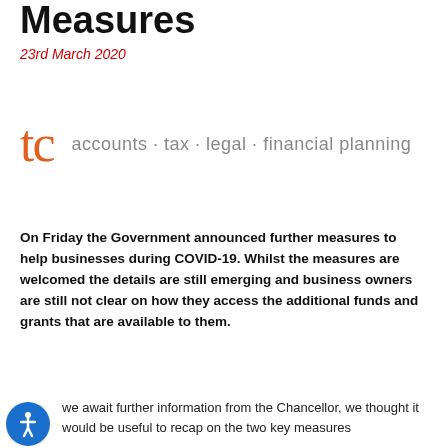Measures
23rd March 2020
[Figure (logo): tc accounts · tax · legal · financial planning logo with orange tc letters]
On Friday the Government announced further measures to help businesses during COVID-19. Whilst the measures are welcomed the details are still emerging and business owners are still not clear on how they access the additional funds and grants that are available to them.
As we await further information from the Chancellor, we thought it would be useful to recap on the two key measures